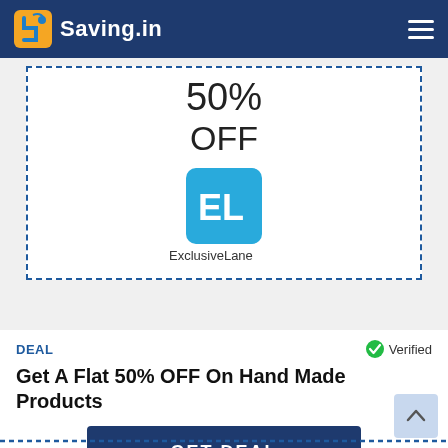Saving.in
[Figure (logo): ExclusiveLane logo with 'EL' icon and text, inside dashed coupon border showing 50% OFF]
DEAL
Verified
Get A Flat 50% OFF On Hand Made Products
GET DEAL
Enjoy amazing deals at exclusivelane.com to receive a flat 50% OFF on handmade products